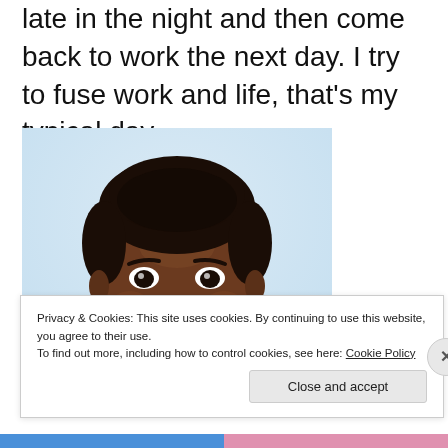late in the night and then come back to work the next day. I try to fuse work and life, that's my typical day.
[Figure (photo): Portrait photo of a young Black man smiling against a light blue/white background, cropped to show head and upper chest.]
Privacy & Cookies: This site uses cookies. By continuing to use this website, you agree to their use.
To find out more, including how to control cookies, see here: Cookie Policy
Close and accept